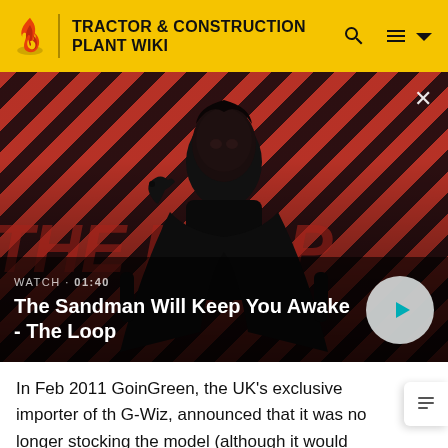TRACTOR & CONSTRUCTION PLANT WIKI
[Figure (screenshot): Video thumbnail for 'The Sandman Will Keep You Awake - The Loop' showing a figure in a black coat with a crow on shoulder, against a red and black diagonal stripe background. Shows WATCH · 01:40 label and a play button.]
In Feb 2011 GoinGreen, the UK's exclusive importer of the G-Wiz, announced that it was no longer stocking the model (although it would order them on a 4-6-week lead time when requested by customers).[12][13]